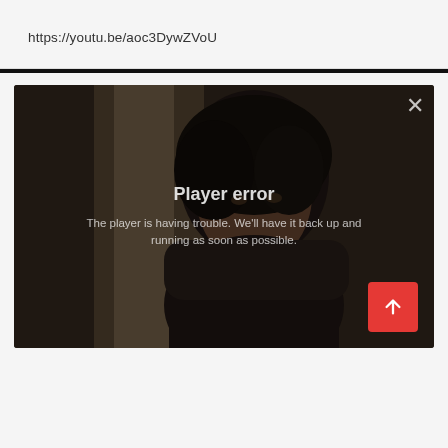https://youtu.be/aoc3DywZVoU
[Figure (screenshot): Screenshot of a video player showing a player error message overlaid on a dark video frame showing a person's face. The error reads 'Player error' and 'The player is having trouble. We'll have it back up and running as soon as possible.' A red scroll-to-top button appears in the bottom right corner.]